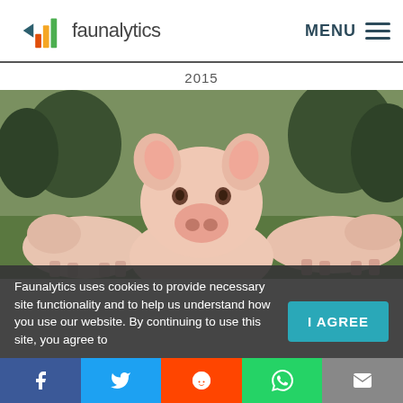faunalytics — MENU
2015
[Figure (photo): A pig facing the camera directly, two other pigs grazing in the background on a grassy field with pumpkins and trees]
Faunalytics uses cookies to provide necessary site functionality and to help us understand how you use our website. By continuing to use this site, you agree to
I AGREE
Social share bar: Facebook, Twitter, Reddit, WhatsApp, Email